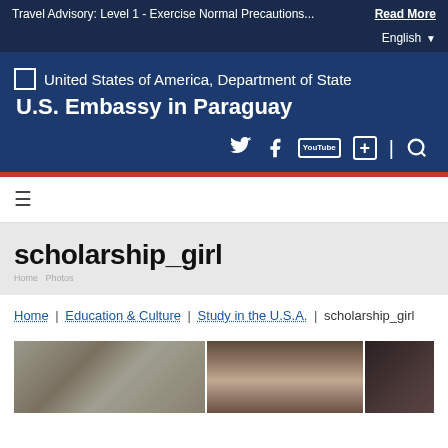Travel Advisory: Level 1 - Exercise Normal Precautions... Read More English
United States of America, Department of State
U.S. Embassy in Paraguay
[Figure (logo): US Embassy logo placeholder box]
[Figure (infographic): Social media icons: Twitter, Facebook, YouTube, plus-button, search]
≡
scholarship_girl
Home | Education & Culture | Study in the U.S.A. | scholarship_girl
[Figure (photo): Three partially visible photos of a girl with a bun hairstyle viewed from different angles or positions]